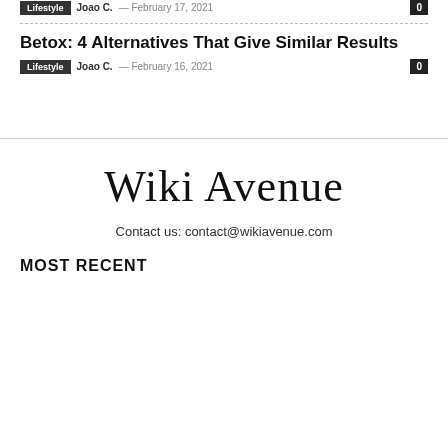Lifestyle  Joao C.  — February 17, 2021  0
Betox: 4 Alternatives That Give Similar Results
Lifestyle  Joao C.  — February 16, 2021  0
[Figure (logo): Wiki Avenue logo in large serif font]
Contact us: contact@wikiavenue.com
MOST RECENT